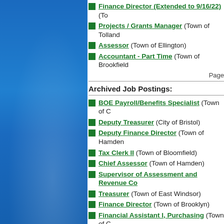[Figure (photo): Blue decorative left panel with gradient]
Finance Director (Extended to 9/16/22) (To...)
Projects / Grants Manager (Town of Tolland...)
Assessor (Town of Ellington)
Accountant - Part Time (Town of Brookfield...)
Page...
Archived Job Postings:
BOE Payroll/Benefits Specialist (Town of C...)
Deputy Treasurer (City of Bristol)
Deputy Finance Director (Town of Hamden...)
Tax Clerk II (Town of Bloomfield)
Chief Assessor (Town of Hamden)
Supervisor of Assessment and Revenue Co...
Treasurer (Town of East Windsor)
Finance Director (Town of Brooklyn)
Financial Assistant I, Purchasing (Town of C...)
Accounting Generalist (City of Norwich)
Jump to Page: 1 2 3 4 5 6 7 8 9 10 11 12 13 1... 31 32 33 34 35 36 37 38 39 40 41 42 43 44 4...